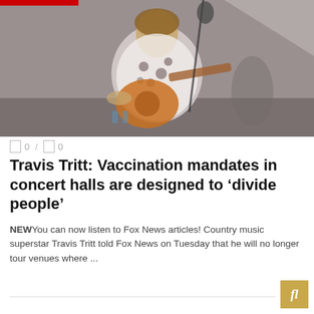[Figure (photo): Country music artist Travis Tritt performing on stage playing acoustic guitar, wearing a white patterned shirt, with a microphone stand in front, stage lighting in background]
0 / 0
Travis Tritt: Vaccination mandates in concert halls are designed to ‘divide people’
NEWYou can now listen to Fox News articles! Country music superstar Travis Tritt told Fox News on Tuesday that he will no longer tour venues where ...
READ MORE